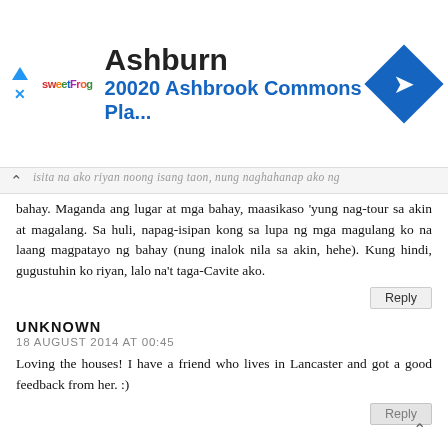[Figure (screenshot): Advertisement banner for sweetFrog with text 'Ashburn' and '20020 Ashbrook Commons Pla...' with a blue navigation diamond icon]
isita na ako riyan noong isang taon, nung naghahanap ako ng bahay. Maganda ang lugar at mga bahay, maasikaso 'yung nag-tour sa akin at magalang. Sa huli, napag-isipan kong sa lupa ng mga magulang ko na laang magpatayo ng bahay (nung inalok nila sa akin, hehe). Kung hindi, gugustuhin ko riyan, lalo na't taga-Cavite ako.
Reply
UNKNOWN
18 AUGUST 2014 AT 00:45
Loving the houses! I have a friend who lives in Lancaster and got a good feedback from her. :)
Reply
UNKNOWN
26 AUGUST 2014 AT 21:26
beautiful houses! If an is an affordable they